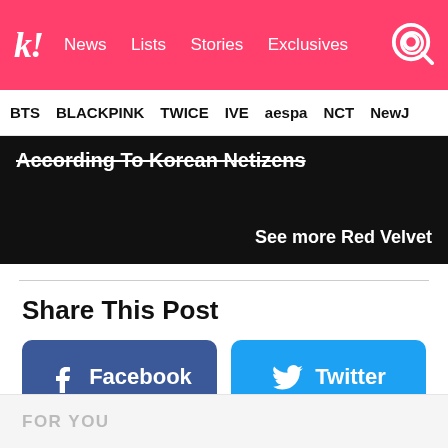k! News  Lists  Stories  Exclusives
BTS  BLACKPINK  TWICE  IVE  aespa  NCT  NewJ
According To Korean Netizens
See more Red Velvet
Share This Post
Facebook
Twitter
FOR YOU